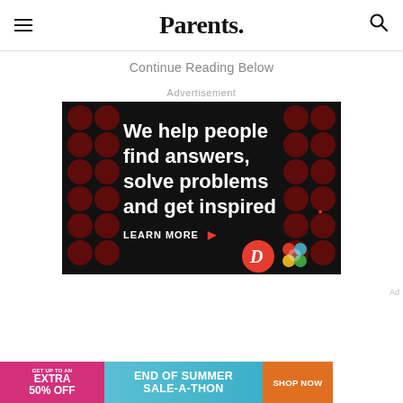Parents.
Continue Reading Below
Advertisement
[Figure (photo): Advertisement banner with dark background and dark red polka dot circles. White bold text reads: 'We help people find answers, solve problems and get inspired.' with a red period. 'LEARN MORE' with arrow in white. Dotdash Meredith logos at bottom right.]
[Figure (photo): Bottom banner ad: pink left section 'GET UP TO AN EXTRA 50% OFF', teal middle section 'END OF SUMMER SALE-A-THON', orange right button 'SHOP NOW']